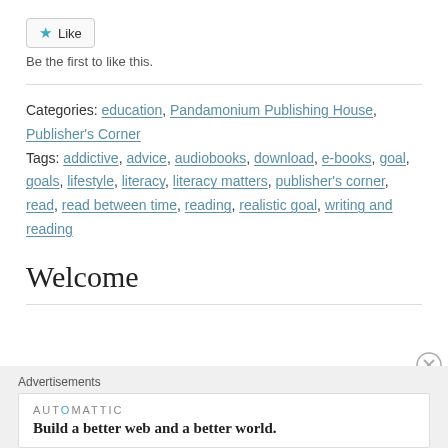[Figure (other): Like button with star icon and 'Like' text, styled as a UI button]
Be the first to like this.
Categories: education, Pandamonium Publishing House, Publisher's Corner
Tags: addictive, advice, audiobooks, download, e-books, goal, goals, lifestyle, literacy, literacy matters, publisher's corner, read, read between time, reading, realistic goal, writing and reading
Welcome
Advertisements
[Figure (other): Automattic advertisement: 'Build a better web and a better world.']